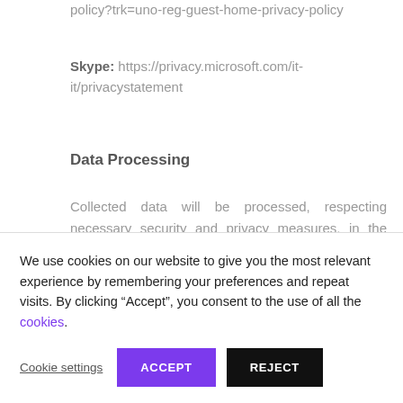policy?trk=uno-reg-guest-home-privacy-policy
Skype: https://privacy.microsoft.com/it-it/privacystatement
Data Processing
Collected data will be processed, respecting necessary security and privacy measures, in the following ways: collected and recorded for specific, explicit and legitimate purposes, used for other purposes with compatible terms, and/or
We use cookies on our website to give you the most relevant experience by remembering your preferences and repeat visits. By clicking “Accept”, you consent to the use of all the cookies.
Cookie settings ACCEPT REJECT